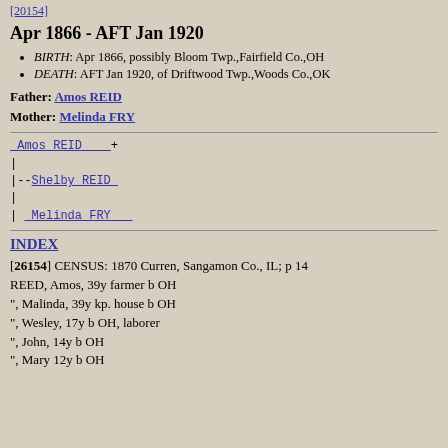[20154]
Apr 1866 - AFT Jan 1920
BIRTH: Apr 1866, possibly Bloom Twp.,Fairfield Co.,OH
DEATH: AFT Jan 1920, of Driftwood Twp.,Woods Co.,OK
Father: Amos REID
Mother: Melinda FRY
Amos REID    +
|
|--Shelby REID
|
| Melinda FRY
INDEX
[26154] CENSUS: 1870 Curren, Sangamon Co., IL; p 14
REED, Amos, 39y farmer b OH
", Malinda, 39y kp. house b OH
", Wesley, 17y b OH, laborer
", John, 14y b OH
", Mary 12y b OH